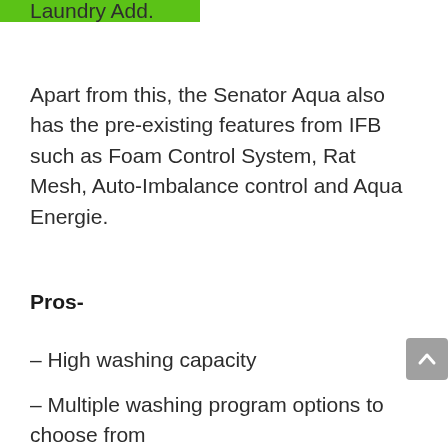Laundry Add.
Apart from this, the Senator Aqua also has the pre-existing features from IFB such as Foam Control System, Rat Mesh, Auto-Imbalance control and Aqua Energie.
Pros-
– High washing capacity
– Multiple washing program options to choose from